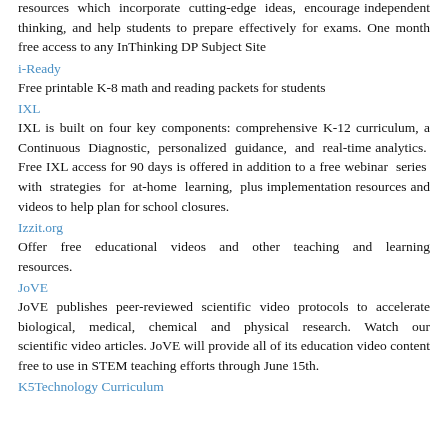resources which incorporate cutting-edge ideas, encourage independent thinking, and help students to prepare effectively for exams. One month free access to any InThinking DP Subject Site
i-Ready
Free printable K-8 math and reading packets for students
IXL
IXL is built on four key components: comprehensive K-12 curriculum, a Continuous Diagnostic, personalized guidance, and real-time analytics. Free IXL access for 90 days is offered in addition to a free webinar series with strategies for at-home learning, plus implementation resources and videos to help plan for school closures.
Izzit.org
Offer free educational videos and other teaching and learning resources.
JoVE
JoVE publishes peer-reviewed scientific video protocols to accelerate biological, medical, chemical and physical research. Watch our scientific video articles. JoVE will provide all of its education video content free to use in STEM teaching efforts through June 15th.
K5Technology Curriculum